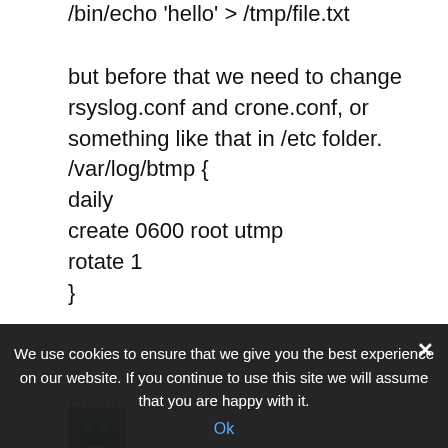/bin/echo 'hello' > /tmp/file.txt
but before that we need to change rsyslog.conf and crone.conf, or something like that in /etc folder.
/var/log/btmp {
daily
create 0600 root utmp
rotate 1
}
Reply
[Figure (illustration): Pixel art avatar icon - green and dark colored]
Ahmed says:
We use cookies to ensure that we give you the best experience on our website. If you continue to use this site we will assume that you are happy with it.
Ok